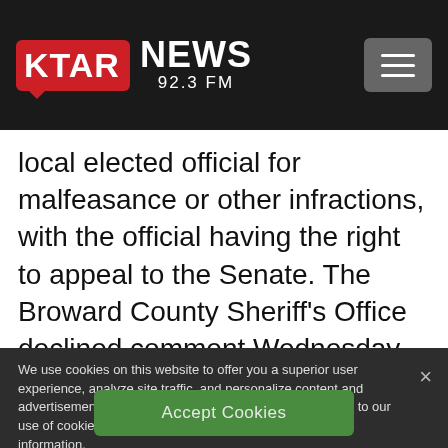KTAR NEWS 92.3 FM
local elected official for malfeasance or other infractions, with the official having the right to appeal to the Senate. The Broward County Sheriff’s Office declined comment Wednesday.
We use cookies on this website to offer you a superior user experience, analyze site traffic, and personalize content and advertisements. By continuing to use our site, you consent to our use of cookies. Please visit our Privacy Policy for more information.
Accept Cookies